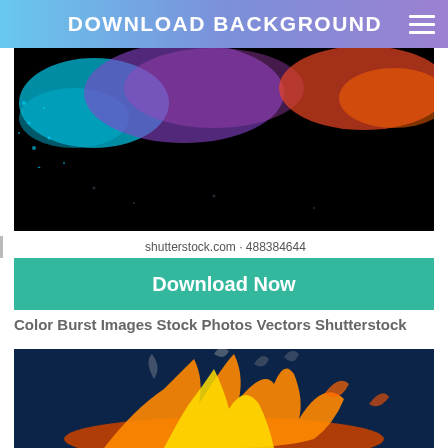DOWNLOAD BACKGROUND
[Figure (photo): Color burst image on black background with cyan, purple, and red-orange smoke/powder explosion]
shutterstock.com · 488384644
Download Now
Color Burst Images Stock Photos Vectors Shutterstock
[Figure (photo): Fire explosion on dark blue background with orange and yellow flames and white smoke]